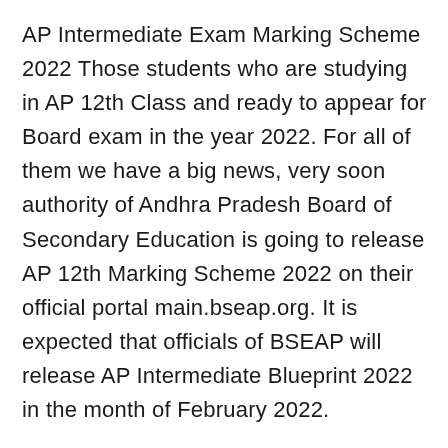AP Intermediate Exam Marking Scheme 2022 Those students who are studying in AP 12th Class and ready to appear for Board exam in the year 2022. For all of them we have a big news, very soon authority of Andhra Pradesh Board of Secondary Education is going to release AP 12th Marking Scheme 2022 on their official portal main.bseap.org. It is expected that officials of BSEAP will release AP Intermediate Blueprint 2022 in the month of February 2022.